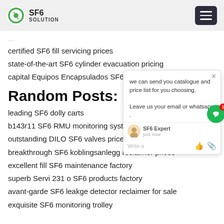SF6 SOLUTION
certified SF6 fill servicing prices
state-of-the-art SF6 cylinder evacuation pricing
capital Equipos Encapsulados SF6 technical pricing
Random Posts:
leading SF6 dolly carts
b143r11 SF6 RMU monitoring system
outstanding DILO SF6 valves prices
breakthrough SF6 koblingsanlegg reclaimer prices
excellent fill SF6 maintenance factory
superb Servi 231 o SF6 products factory
avant-garde SF6 leakge detector reclaimer for sale
exquisite SF6 monitoring trolley